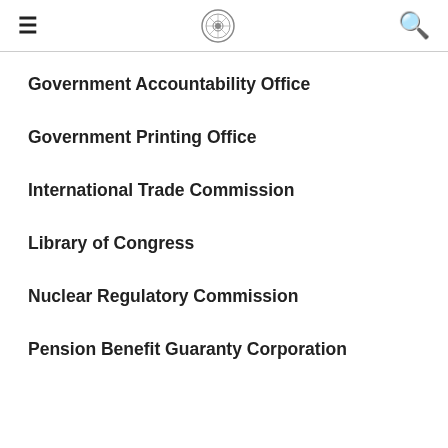Government Accountability Office
Government Printing Office
International Trade Commission
Library of Congress
Nuclear Regulatory Commission
Pension Benefit Guaranty Corporation